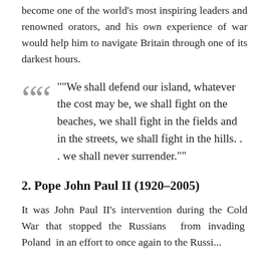become one of the world's most inspiring leaders and renowned orators, and his own experience of war would help him to navigate Britain through one of its darkest hours.
""We shall defend our island, whatever the cost may be, we shall fight on the beaches, we shall fight in the fields and in the streets, we shall fight in the hills. . . we shall never surrender.""
2. Pope John Paul II (1920–2005)
It was John Paul II's intervention during the Cold War that stopped the Russians from invading Poland in an effort to once again to...